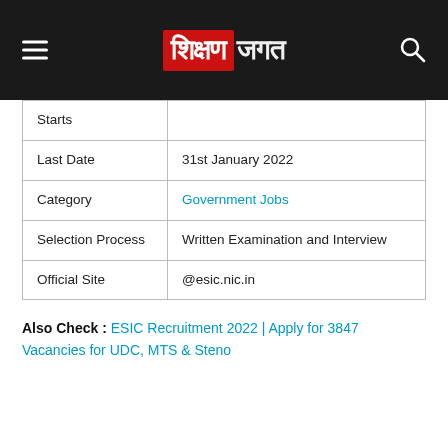शिक्षण जगत (Shikshan Jagat logo header)
| Starts |  |
| Last Date | 31st January 2022 |
| Category | Government Jobs |
| Selection Process | Written Examination and Interview |
| Official Site | @esic.nic.in |
Also Check : ESIC Recruitment 2022 | Apply for 3847 Vacancies for UDC, MTS & Steno